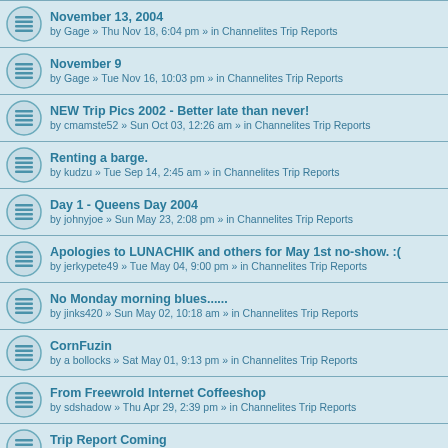November 13, 2004 — by Gage » Thu Nov 18, 6:04 pm » in Channelites Trip Reports
November 9 — by Gage » Tue Nov 16, 10:03 pm » in Channelites Trip Reports
NEW Trip Pics 2002 - Better late than never! — by cmamste52 » Sun Oct 03, 12:26 am » in Channelites Trip Reports
Renting a barge. — by kudzu » Tue Sep 14, 2:45 am » in Channelites Trip Reports
Day 1 - Queens Day 2004 — by johnyjoe » Sun May 23, 2:08 pm » in Channelites Trip Reports
Apologies to LUNACHIK and others for May 1st no-show. :( — by jerkypete49 » Tue May 04, 9:00 pm » in Channelites Trip Reports
No Monday morning blues...... — by jinks420 » Sun May 02, 10:18 am » in Channelites Trip Reports
CornFuzin — by a bollocks » Sat May 01, 9:13 pm » in Channelites Trip Reports
From Freewrold Internet Coffeeshop — by sdshadow » Thu Apr 29, 2:39 pm » in Channelites Trip Reports
Trip Report Coming — by Santa Marta » Fri Apr 16, 4:30 am » in Channelites Trip Reports
Join my group — by PotSoldier » Mon Apr 05, 4:17 pm » in Channelites Trip Reports